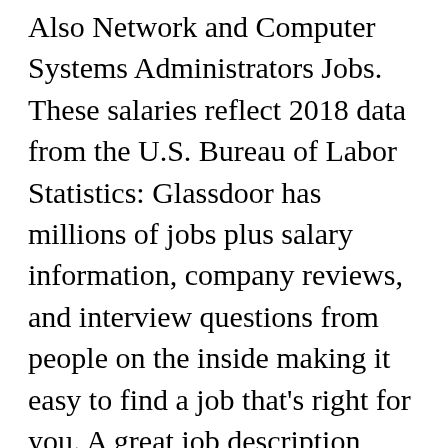Also Network and Computer Systems Administrators Jobs. These salaries reflect 2018 data from the U.S. Bureau of Labor Statistics: Glassdoor has millions of jobs plus salary information, company reviews, and interview questions from people on the inside making it easy to find a job that’s right for you. A great job description starts with an engaging summary of the position and its role within your organization. Database Administrator Job Description: Salary, Skills, & More Computer Systems Analyst Job Description: Salary, Skills, & More The Top 10 Computer Science Jobs A security systems administrator is someone who gives expert advice to companies regarding their internal security procedures and can also